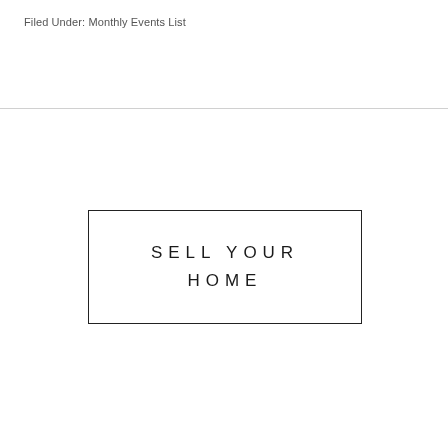Filed Under: Monthly Events List
[Figure (other): Rectangular button/banner with text 'SELL YOUR HOME' in spaced uppercase letters, outlined with a thin border.]